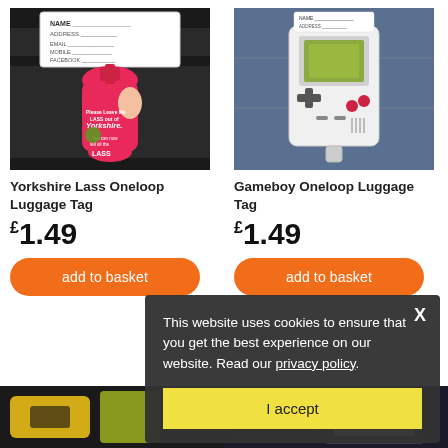[Figure (photo): Yorkshire Lass Oneloop Luggage Tag attached to dark luggage handle. Pink hot-water-bottle shaped tag with retro pin-up lady design and text 'Yorkshire Lass'.]
[Figure (photo): Gameboy Oneloop Luggage Tag on blue suitcase. White tag shaped like a Game Boy handheld console.]
Yorkshire Lass Oneloop Luggage Tag
Gameboy Oneloop Luggage Tag
£1.49
£1.49
add to basket
add to basket
[Figure (screenshot): Cookie consent overlay popup. Text: 'This website uses cookies to ensure that you get the best experience on our website. Read our privacy policy.' with 'I accept' button and X close button.]
[Figure (photo): Bottom partial product images — two luggage tags on dark backgrounds.]